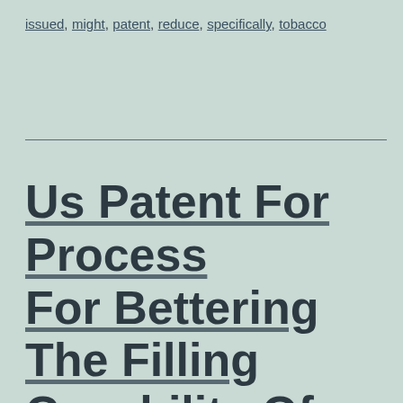issued, might, patent, reduce, specifically, tobacco
Us Patent For Process For Bettering The Filling Capability Of Tobacco, Particularly Cut Tobacco Leaf Patent Patent #